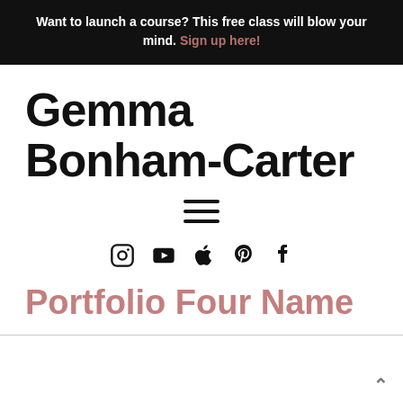Want to launch a course? This free class will blow your mind. Sign up here!
Gemma Bonham-Carter
[Figure (other): Hamburger menu icon (three horizontal lines)]
[Figure (other): Social media icons: Instagram, YouTube, Apple, Pinterest, Facebook]
Portfolio Four Name
back to top arrow